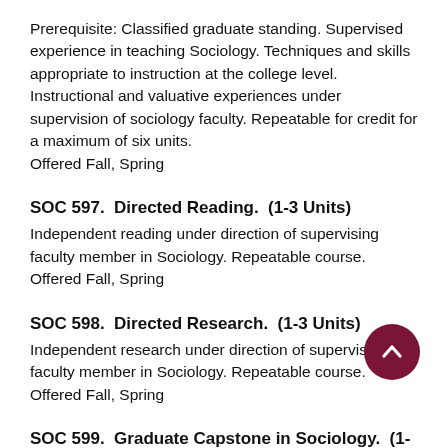Prerequisite: Classified graduate standing. Supervised experience in teaching Sociology. Techniques and skills appropriate to instruction at the college level. Instructional and valuative experiences under supervision of sociology faculty. Repeatable for credit for a maximum of six units. Offered Fall, Spring
SOC 597.  Directed Reading.  (1-3 Units)
Independent reading under direction of supervising faculty member in Sociology. Repeatable course. Offered Fall, Spring
SOC 598.  Directed Research.  (1-3 Units)
Independent research under direction of supervising faculty member in Sociology. Repeatable course. Offered Fall, Spring
SOC 599.  Graduate Capstone in Sociology.  (1-5...